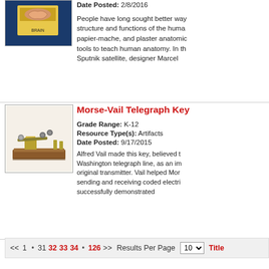[Figure (photo): Photo of a brain model kit with yellow packaging on blue background]
Date Posted: 2/8/2016
People have long sought better ways to understand the structure and functions of the human brain. Wax, papier-mache, and plaster anatomical models were early tools to teach human anatomy. In the era of the Sputnik satellite, designer Marcel ...
[Figure (photo): Photo of a Morse-Vail Telegraph Key, a brass mechanical telegraph key on a wooden base]
Morse-Vail Telegraph Key
Grade Range: K-12
Resource Type(s): Artifacts
Date Posted: 9/17/2015
Alfred Vail made this key, believed to be used on the Washington telegraph line, as an improvement on the original transmitter. Vail helped Morse develop a way of sending and receiving coded electric signals that successfully demonstrated ...
<< 1 • 31 32 33 34 • 126 >> Results Per Page 10 ▾ Title